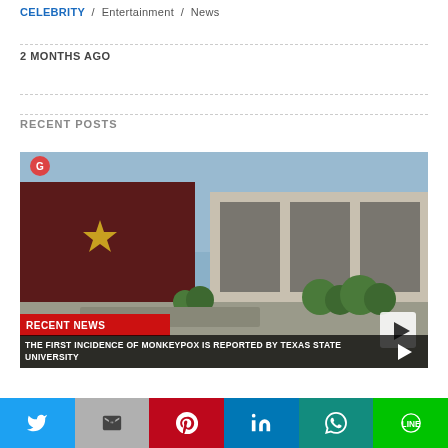CELEBRITY / Entertainment / News
2 MONTHS AGO
RECENT POSTS
[Figure (photo): News video thumbnail showing Texas State University campus aerial view with a star logo on a dark building. Overlay shows 'RECENT NEWS' banner in red and white text reading 'THE FIRST INCIDENCE OF MONKEYPOX IS REPORTED BY TEXAS STATE UNIVERSITY' with a play button triangle icon.]
Social share buttons: Twitter, Gmail, Pinterest, LinkedIn, WhatsApp, Line